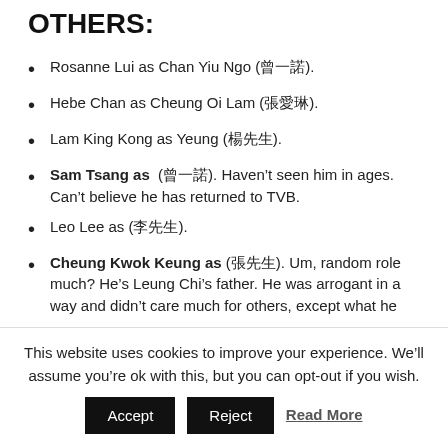OTHERS:
Rosanne Lui as Chan Yiu Ngo (曾一諾).
Hebe Chan as Cheung Oi Lam (張愛琳).
Lam King Kong as Yeung (楊先生).
Sam Tsang as (曾一諾). Haven't seen him in ages. Can't believe he has returned to TVB.
Leo Lee as (李先生).
Cheung Kwok Keung as (張先生). Um, random role much? He's Leung Chi's father. He was arrogant in a way and didn't care much for others, except what he
This website uses cookies to improve your experience. We'll assume you're ok with this, but you can opt-out if you wish.